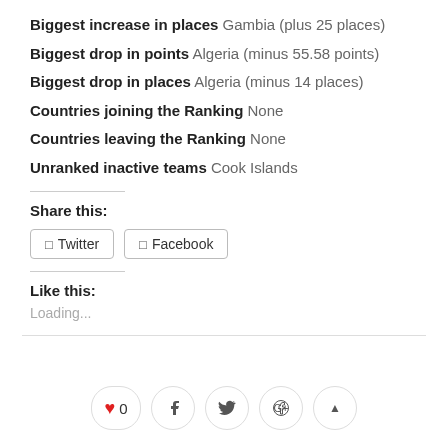Biggest increase in places Gambia (plus 25 places)
Biggest drop in points Algeria (minus 55.58 points)
Biggest drop in places Algeria (minus 14 places)
Countries joining the Ranking None
Countries leaving the Ranking None
Unranked inactive teams Cook Islands
Share this:
Twitter
Facebook
Like this:
Loading...